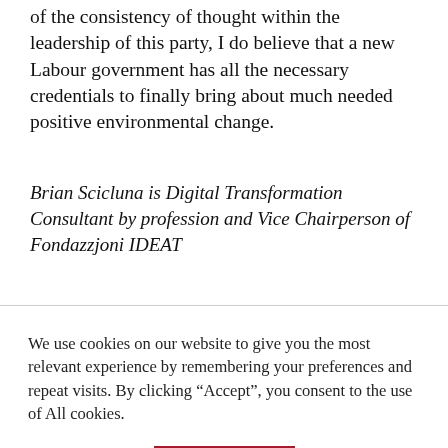of the consistency of thought within the leadership of this party, I do believe that a new Labour government has all the necessary credentials to finally bring about much needed positive environmental change.
Brian Scicluna is Digital Transformation Consultant by profession and Vice Chairperson of Fondazzjoni IDEAT
We use cookies on our website to give you the most relevant experience by remembering your preferences and repeat visits. By clicking “Accept”, you consent to the use of All cookies.